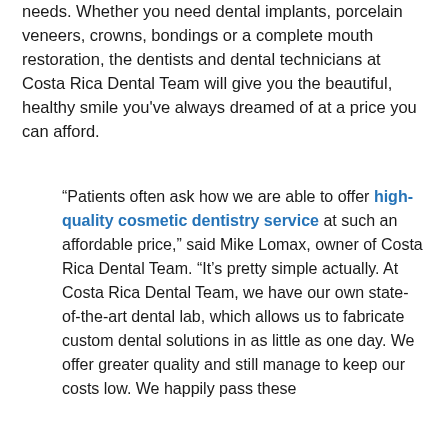needs. Whether you need dental implants, porcelain veneers, crowns, bondings or a complete mouth restoration, the dentists and dental technicians at Costa Rica Dental Team will give you the beautiful, healthy smile you've always dreamed of at a price you can afford.
“Patients often ask how we are able to offer high-quality cosmetic dentistry service at such an affordable price,” said Mike Lomax, owner of Costa Rica Dental Team. “It’s pretty simple actually. At Costa Rica Dental Team, we have our own state-of-the-art dental lab, which allows us to fabricate custom dental solutions in as little as one day. We offer greater quality and still manage to keep our costs low. We happily pass these